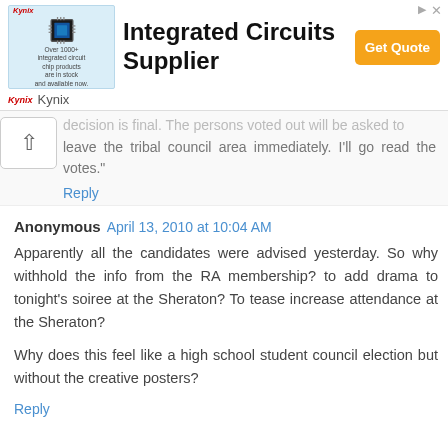[Figure (other): Kynix advertisement banner for Integrated Circuits Supplier with Get Quote button]
decision is final. The persons voted out will be asked to leave the tribal council area immediately. I'll go read the votes."
Reply
Anonymous April 13, 2010 at 10:04 AM
Apparently all the candidates were advised yesterday. So why withhold the info from the RA membership? to add drama to tonight's soiree at the Sheraton? To tease increase attendance at the Sheraton?
Why does this feel like a high school student council election but without the creative posters?
Reply